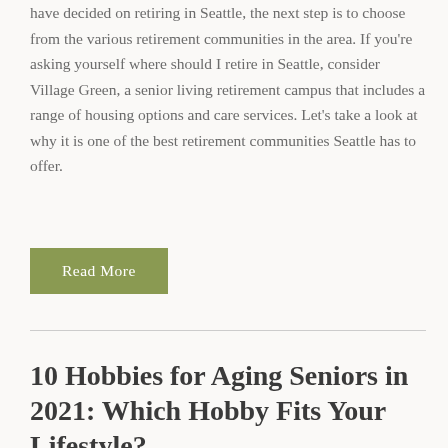have decided on retiring in Seattle, the next step is to choose from the various retirement communities in the area. If you're asking yourself where should I retire in Seattle, consider Village Green, a senior living retirement campus that includes a range of housing options and care services. Let's take a look at why it is one of the best retirement communities Seattle has to offer.
Read More
10 Hobbies for Aging Seniors in 2021: Which Hobby Fits Your Lifestyle?